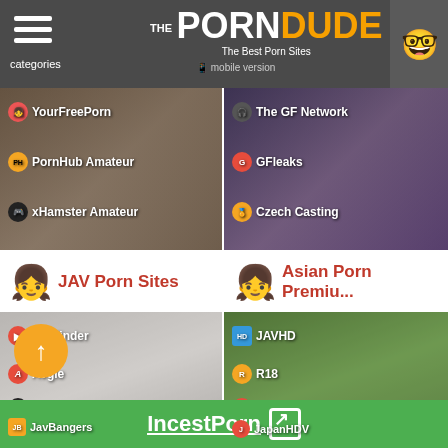THE PORN DUDE — The Best Porn Sites | categories | mobile version
[Figure (screenshot): Two thumbnail images showing amateur porn category sites: YourFreePorn, PornHub Amateur, xHamster Amateur on left; The GF Network, GFleaks, Czech Casting on right]
JAV Porn Sites
Asian Porn Premiu...
[Figure (screenshot): JAV Porn Sites thumbnail with JavFinder, Avgle, VJAV, HPJAV, JavBangers listed]
[Figure (screenshot): Asian Porn Premium thumbnail with JAVHD, R18, Erito, LittleAsians, JapanHDV listed]
IncestPorn ↗